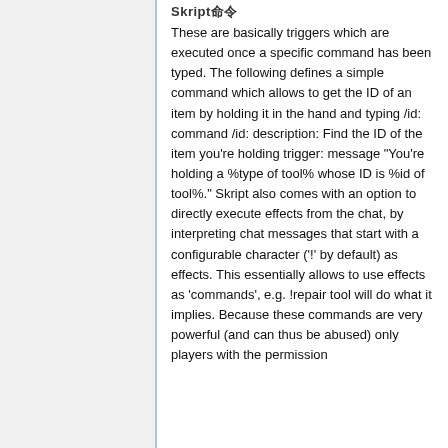Skript命令
These are basically triggers which are executed once a specific command has been typed. The following defines a simple command which allows to get the ID of an item by holding it in the hand and typing /id: command /id: description: Find the ID of the item you're holding trigger: message "You're holding a %type of tool% whose ID is %id of tool%." Skript also comes with an option to directly execute effects from the chat, by interpreting chat messages that start with a configurable character ('!' by default) as effects. This essentially allows to use effects as 'commands', e.g. !repair tool will do what it implies. Because these commands are very powerful (and can thus be abused) only players with the permission